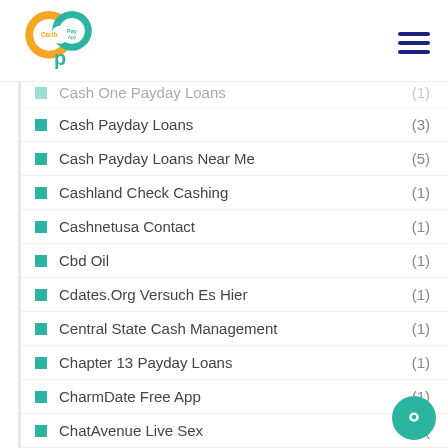Carib Pay App
Cash One Payday Loans (1)
Cash Payday Loans (3)
Cash Payday Loans Near Me (5)
Cashland Check Cashing (1)
Cashnetusa Contact (1)
Cbd Oil (1)
Cdates.Org Versuch Es Hier (1)
Central State Cash Management (1)
Chapter 13 Payday Loans (1)
CharmDate Free App (1)
ChatAvenue Live Sex (1)